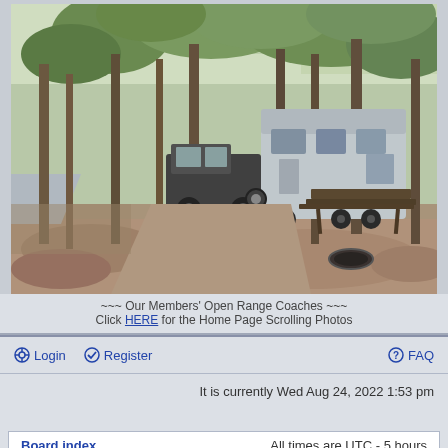[Figure (photo): A campsite in a wooded area showing an RV (fifth-wheel trailer) pulled by a truck, parked among tall trees. In the foreground is a sandy/dirt clearing with leaves, a fire ring, and a picnic table to the right. A road is visible to the left.]
~~~ Our Members' Open Range Coaches ~~~
Click HERE for the Home Page Scrolling Photos
Login   Register   FAQ
It is currently Wed Aug 24, 2022 1:53 pm
Board index   All times are UTC - 5 hours